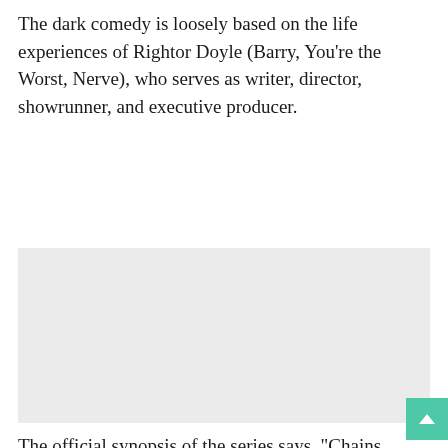The dark comedy is loosely based on the life experiences of Rightor Doyle (Barry, You're the Worst, Nerve), who serves as writer, director, showrunner, and executive producer.
[Figure (photo): A light gray rectangular placeholder image, likely a photo or video still related to the article content.]
The official synopsis of the series says, "Chains, whips and hilarious quips! For grad student/dominatrix Tiff